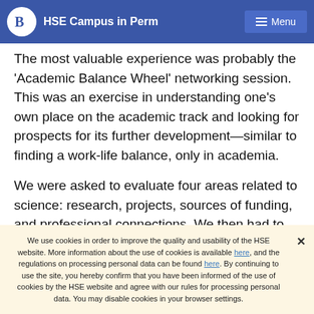HSE Campus in Perm  Menu
The most valuable experience was probably the 'Academic Balance Wheel' networking session. This was an exercise in understanding one's own place on the academic track and looking for prospects for its further development—similar to finding a work-life balance, only in academia.
We were asked to evaluate four areas related to science: research, projects, sources of funding, and professional connections. We then had to imagine what
We use cookies in order to improve the quality and usability of the HSE website. More information about the use of cookies is available here, and the regulations on processing personal data can be found here. By continuing to use the site, you hereby confirm that you have been informed of the use of cookies by the HSE website and agree with our rules for processing personal data. You may disable cookies in your browser settings.